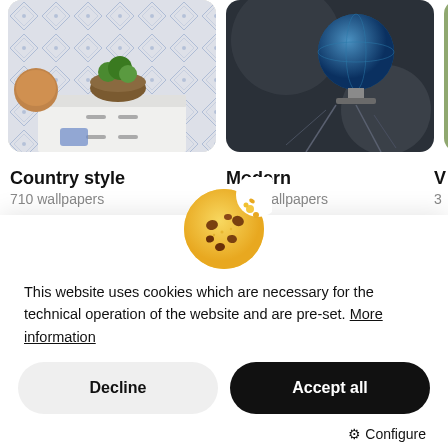[Figure (screenshot): Country style wallpaper category card showing a white dresser with a basket of herbs against a blue patterned tile background]
Country style
710 wallpapers
[Figure (screenshot): Modern wallpaper category card showing a dark blue globe sculpture on a wire chair against a dark geometric background]
Modern
1306 wallpapers
[Figure (illustration): Cookie emoji icon — a round chocolate chip cookie with a bite taken out]
This website uses cookies which are necessary for the technical operation of the website and are pre-set. More information
Decline
Accept all
⚙ Configure